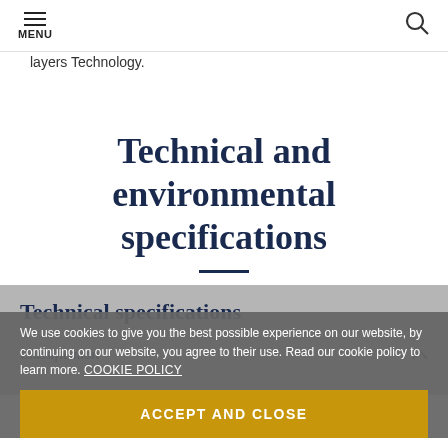MENU | [search icon]
layers Technology.
Technical and environmental specifications
Technical specifications
We use cookies to give you the best possible experience on our website, by continuing on our website, you agree to their use. Read our cookie policy to learn more. COOKIE POLICY
ACCEPT AND CLOSE
Classification
| Tarkett value |  |
| --- | --- |
| Tarkett value | Heterogeneous poly(vinyl |